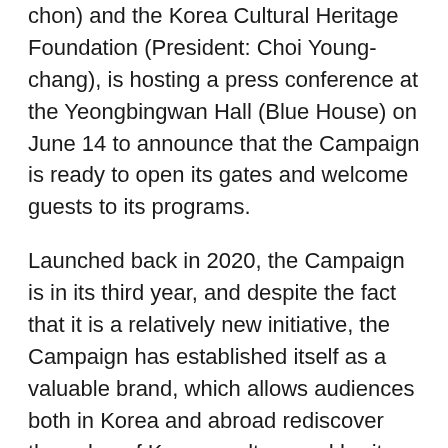chon) and the Korea Cultural Heritage Foundation (President: Choi Young-chang), is hosting a press conference at the Yeongbingwan Hall (Blue House) on June 14 to announce that the Campaign is ready to open its gates and welcome guests to its programs.
Launched back in 2020, the Campaign is in its third year, and despite the fact that it is a relatively new initiative, the Campaign has established itself as a valuable brand, which allows audiences both in Korea and abroad rediscover the value of Korean culture and heritage that helped shape the Hallyu wave spreading across the globe today. This year's Campaign will feature ten unique themes and 75 different destinations centered on World Heritages and Masterpieces of the Oral and Intangible Heritage of Humanity in Korea, and also a wide variety of related content.